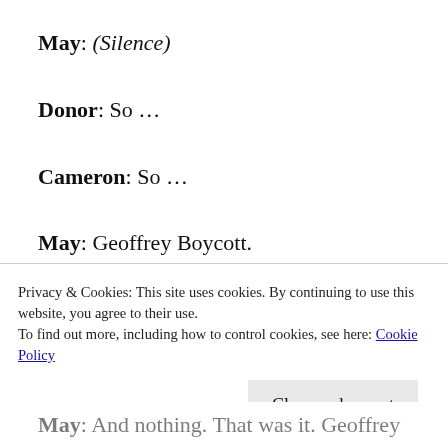May: (Silence)
Donor: So …
Cameron: So …
May: Geoffrey Boycott.
Cameron: What about him?
May: He was a great cricketer. I once saw him
Privacy & Cookies: This site uses cookies. By continuing to use this website, you agree to their use. To find out more, including how to control cookies, see here: Cookie Policy
Close and accept
May: And nothing. That was it. Geoffrey